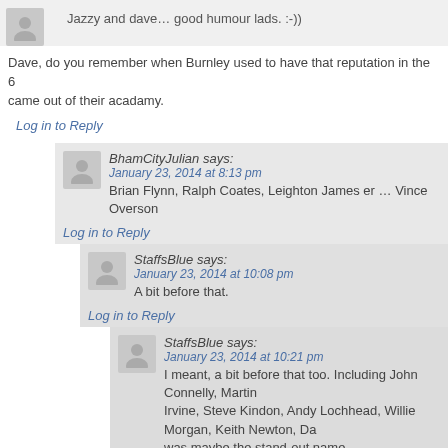Jazzy and dave… good humour lads. :-))
Dave, do you remember when Burnley used to have that reputation in the 6 came out of their acadamy.
Log in to Reply
BhamCityJulian says: January 23, 2014 at 8:13 pm - Brian Flynn, Ralph Coates, Leighton James er … Vince Overson
Log in to Reply
StaffsBlue says: January 23, 2014 at 10:08 pm - A bit before that.
Log in to Reply
StaffsBlue says: January 23, 2014 at 10:21 pm - I meant, a bit before that too. Including John Connelly, Martin Irvine, Steve Kindon, Andy Lochhead, Willie Morgan, Keith Newton, Da was maybe the stand-out name.
Chris W says: January 23, 2014 at 10:37 pm